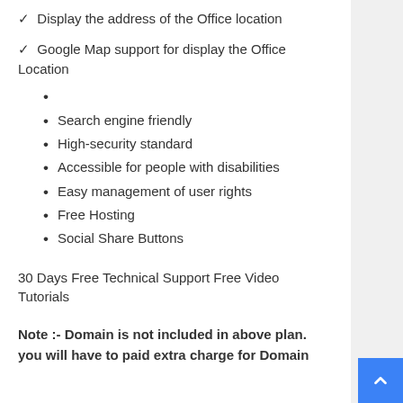✓  Display the address of the Office location
✓  Google Map support for display the Office Location
Search engine friendly
High-security standard
Accessible for people with disabilities
Easy management of user rights
Free Hosting
Social Share Buttons
30 Days Free Technical Support Free Video Tutorials
Note :- Domain is not included in above plan. you will have to paid extra charge for Domain